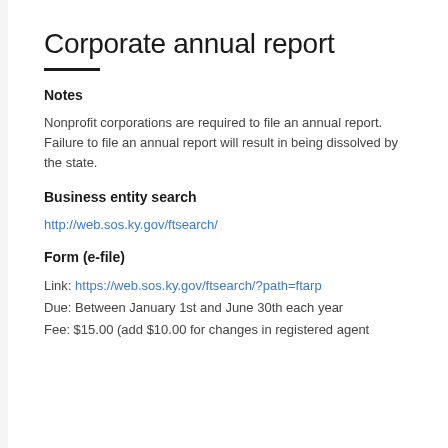Corporate annual report
Notes
Nonprofit corporations are required to file an annual report. Failure to file an annual report will result in being dissolved by the state.
Business entity search
http://web.sos.ky.gov/ftsearch/
Form (e-file)
Link: https://web.sos.ky.gov/ftsearch/?path=ftarp
Due: Between January 1st and June 30th each year
Fee: $15.00 (add $10.00 for changes in registered agent